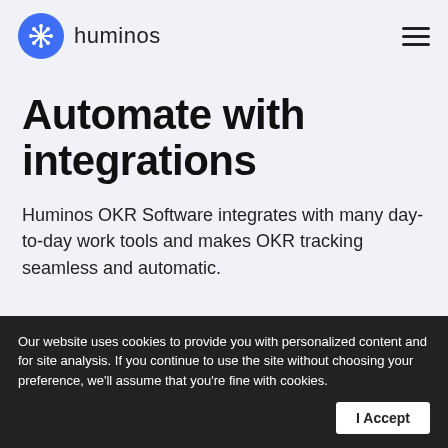huminos
Automate with integrations
Huminos OKR Software integrates with many day-to-day work tools and makes OKR tracking seamless and automatic.
1. In Slack and Microsoft Teams - Post check-in updates, schedule one-to-one meetings, give feedback and do more.
Our website uses cookies to provide you with personalized content and for site analysis. If you continue to use the site without choosing your preference, we'll assume that you're fine with cookies.